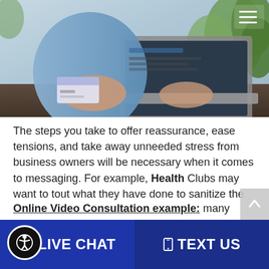[Figure (photo): Person holding a credit card while working on a laptop, with green plants in the background. A menu/hamburger icon appears in the top right corner.]
The steps you take to offer reassurance, ease tensions, and take away unneeded stress from business owners will be necessary when it comes to messaging. For example, Health Clubs may want to tout what they have done to sanitize the fitness machines and locker rooms. Consider easing consumer fears as much as possible. Restaurants may want to promote Private Banquet rooms and catering, such as “We Deliver” –  A great message for Restaurants, Retailers and a myriad of other service businesses who deliver.
Online Video Consultation example: many Medical
LIVE CHAT   TEXT US